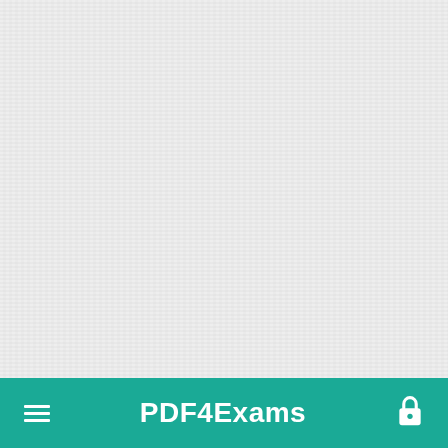[Figure (other): Light gray textured blank background area filling the upper portion of the page]
≡   PDF4Exams   🔒